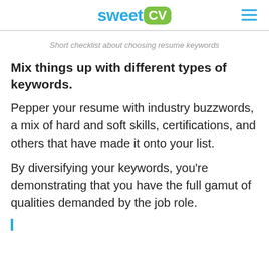sweet CV
Short checklist about choosing resume keywords
Mix things up with different types of keywords.
Pepper your resume with industry buzzwords, a mix of hard and soft skills, certifications, and others that have made it onto your list.
By diversifying your keywords, you’re demonstrating that you have the full gamut of qualities demanded by the job role.